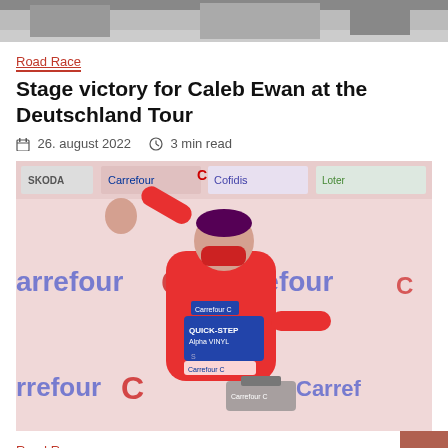[Figure (photo): Top cropped photo showing what appears to be a garage or indoor sports facility ceiling/structure in grey tones]
Road Race
Stage victory for Caleb Ewan at the Deutschland Tour
26. august 2022   3 min read
[Figure (photo): Cyclist wearing red Quick-Step Alpha Vinyl jersey and cap, waving on podium with Carrefour sponsorship banners in background. Cyclist is holding a trophy.]
Road Race